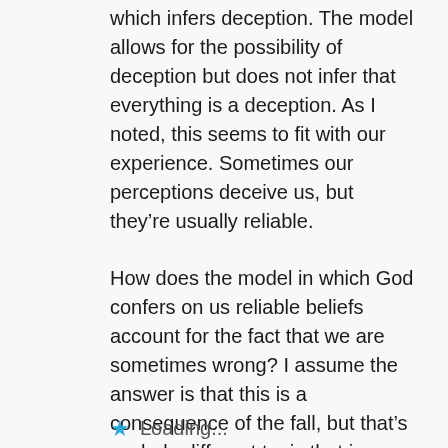which infers deception. The model allows for the possibility of deception but does not infer that everything is a deception. As I noted, this seems to fit with our experience. Sometimes our perceptions deceive us, but they're usually reliable.
How does the model in which God confers on us reliable beliefs account for the fact that we are sometimes wrong? I assume the answer is that this is a consequence of the fall, but that's a whole different topic that is already being discussed elsewhere.
Loading...